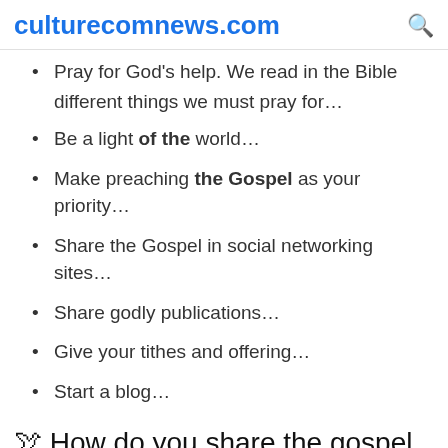culturecomnews.com
Pray for God's help. We read in the Bible different things we must pray for…
Be a light of the world…
Make preaching the Gospel as your priority…
Share the Gospel in social networking sites…
Share godly publications…
Give your tithes and offering…
Start a blog…
🕊 How do you share the gospel of christ?
Draw on your strengths